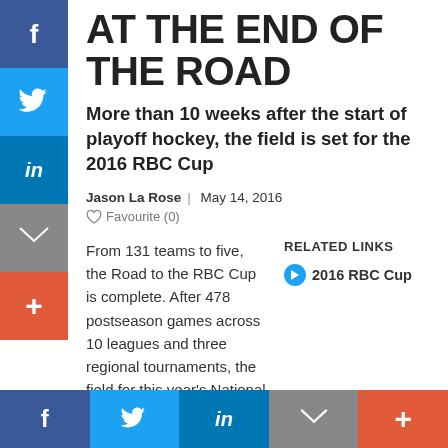AT THE END OF THE ROAD
More than 10 weeks after the start of playoff hockey, the field is set for the 2016 RBC Cup
Jason La Rose | May 14, 2016
Favourite (0)
RELATED LINKS
2016 RBC Cup
From 131 teams to five, the Road to the RBC Cup is complete. After 478 postseason games across 10 leagues and three regional tournaments, the field for this year's National Junior A Championship, which begins Saturday at the Centennial